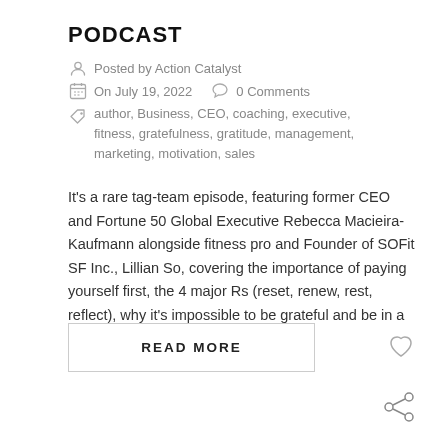PODCAST
Posted by Action Catalyst
On July 19, 2022   0 Comments
author, Business, CEO, coaching, executive, fitness, gratefulness, gratitude, management, marketing, motivation, sales
It's a rare tag-team episode, featuring former CEO and Fortune 50 Global Executive Rebecca Macieira-Kaufmann alongside fitness pro and Founder of SOFit SF Inc., Lillian So, covering the importance of paying yourself first, the 4 major Rs (reset, renew, rest, reflect), why it's impossible to be grateful and be in a crisis at the same [...]
READ MORE